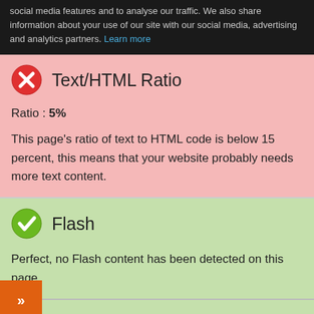social media features and to analyse our traffic. We also share information about your use of our site with our social media, advertising and analytics partners. Learn more
Text/HTML Ratio
Ratio : 5%
This page's ratio of text to HTML code is below 15 percent, this means that your website probably needs more text content.
Flash
Perfect, no Flash content has been detected on this page.
Iframe